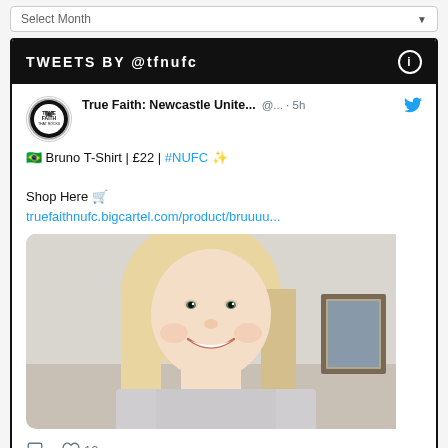Select Month
TWEETS BY @tfnufc
True Faith: Newcastle Unite... @... · 5h
🇧🇷 Bruno T-Shirt | £22 | #NUFC ✨

Shop Here 🛒
truefaithnufc.bigcartel.com/product/bruuuu...
[Figure (photo): Photo of a smiling woman with long blonde hair wearing a light grey t-shirt, appearing to take a selfie indoors.]
♡ 10